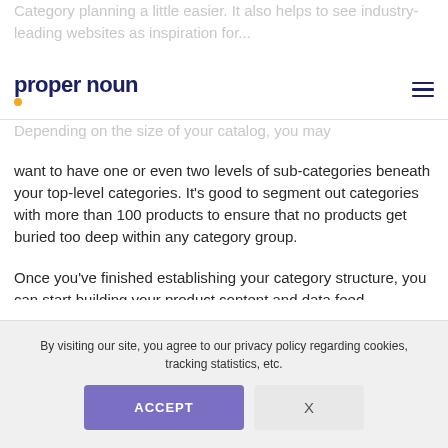proper noun
Category planning a little easier. It also helps to see industry-leading websites as inspiration for...
Depending on the size of your catalog, you may want to have one or even two levels of sub-categories beneath your top-level categories. It’s good to segment out categories with more than 100 products to ensure that no products get buried too deep within any category group.

Once you’ve finished establishing your category structure, you can start building your product content and data feed.
By visiting our site, you agree to our privacy policy regarding cookies, tracking statistics, etc.